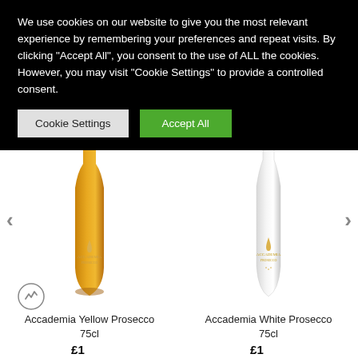We use cookies on our website to give you the most relevant experience by remembering your preferences and repeat visits. By clicking "Accept All", you consent to the use of ALL the cookies. However, you may visit "Cookie Settings" to provide a controlled consent.
Cookie Settings
Accept All
[Figure (photo): Accademia Yellow Prosecco 75cl bottle - amber/golden colored glass bottle]
Accademia Yellow Prosecco 75cl
[Figure (photo): Accademia White Prosecco 75cl bottle - white ceramic/opaque bottle with gold label]
Accademia White Prosecco 75cl